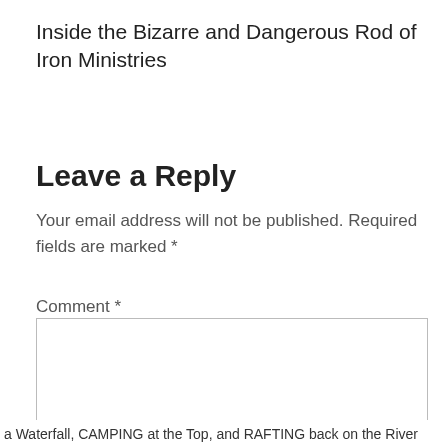Inside the Bizarre and Dangerous Rod of Iron Ministries
Leave a Reply
Your email address will not be published. Required fields are marked *
Comment *
a Waterfall, CAMPING at the Top, and RAFTING back on the River